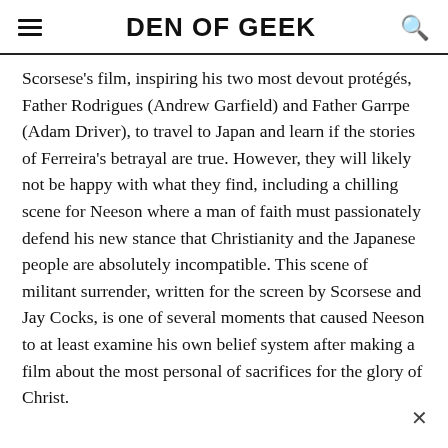DEN OF GEEK
Scorsese's film, inspiring his two most devout protégés, Father Rodrigues (Andrew Garfield) and Father Garrpe (Adam Driver), to travel to Japan and learn if the stories of Ferreira's betrayal are true. However, they will likely not be happy with what they find, including a chilling scene for Neeson where a man of faith must passionately defend his new stance that Christianity and the Japanese people are absolutely incompatible. This scene of militant surrender, written for the screen by Scorsese and Jay Cocks, is one of several moments that caused Neeson to at least examine his own belief system after making a film about the most personal of sacrifices for the glory of Christ.